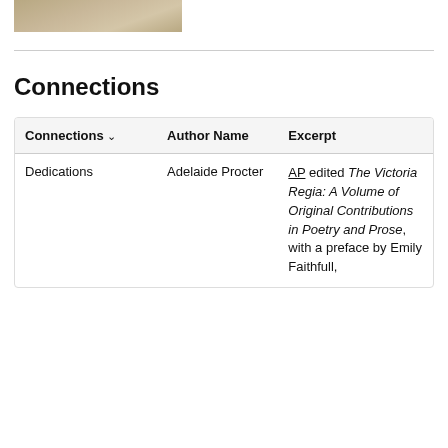[Figure (photo): Partial view of an aged/sepia-toned image, likely a portrait or historical document, cropped at the top of the page.]
Connections
| Connections | Author Name | Excerpt |
| --- | --- | --- |
| Dedications | Adelaide Procter | AP edited The Victoria Regia: A Volume of Original Contributions in Poetry and Prose, with a preface by Emily Faithfull, |